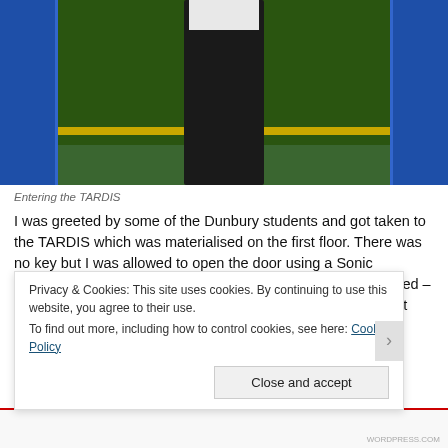[Figure (photo): A person entering a blue TARDIS door, shot from outside showing legs and torso in dark clothing, with a green interior and yellow stripe visible, and a light-colored wall to the right.]
Entering the TARDIS
I was greeted by some of the Dunbury students and got taken to the TARDIS which was materialised on the first floor. There was no key but I was allowed to open the door using a Sonic Screwdriver. I couldn’t stop saying ‘Wow!’ as I was so surprised – it was bigger than I thought it would be but then again, it is a t
Privacy & Cookies: This site uses cookies. By continuing to use this website, you agree to their use.
To find out more, including how to control cookies, see here: Cookie Policy
Close and accept